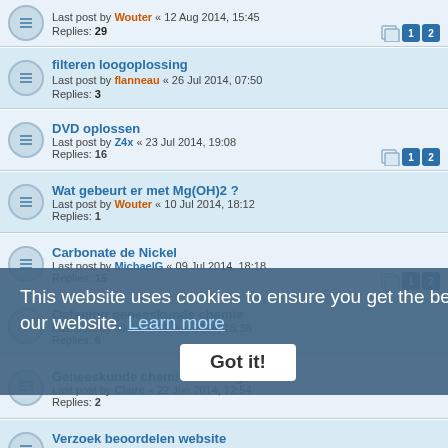Last post by Wouter « 12 Aug 2014, 15:45
Replies: 29
filteren loogoplossing
Last post by flanneau « 26 Jul 2014, 07:50
Replies: 3
DVD oplossen
Last post by Z4x « 23 Jul 2014, 19:08
Replies: 16
Wat gebeurt er met Mg(OH)2 ?
Last post by Wouter « 10 Jul 2014, 18:12
Replies: 1
Carbonate de Nickel
Last post by MichaelG « 09 Jul 2014, 18:18
Replies: 15
Oefening geneeskunde chemie
Last post by Claire « 22 Jun 2014, 16:36
Replies: 6
Geneeskunde chemie oefening
Last post by Claire « 22 Jun 2014, 12:54
Replies: 2
Verzoek beoordelen website
Last post by ... « 25 Jun 2014, 15:46
Replies: 15
snelle verbranding van suikers
Last post by Pyrochemist « 01 Mar 2014, 05:05
Replies: 14
labo's
Last post by ChemicalBrother « 01 Mar 2014, 21:57
Replies: 5
This website uses cookies to ensure you get the best experience on our website. Learn more
Got it!